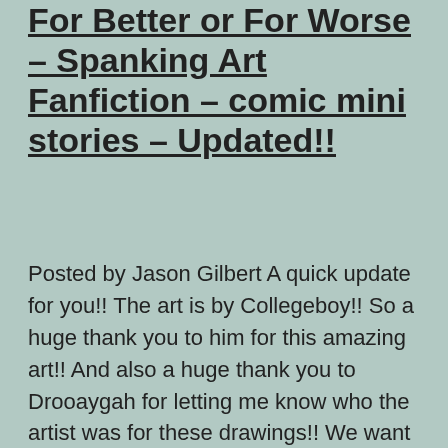For Better or For Worse – Spanking Art Fanfiction – comic mini stories – Updated!!
Posted by Jason Gilbert A quick update for you!! The art is by Collegeboy!! So a huge thank you to him for this amazing art!! And also a huge thank you to Drooaygah for letting me know who the artist was for these drawings!! We want to make sure that we support those with a… Continue reading